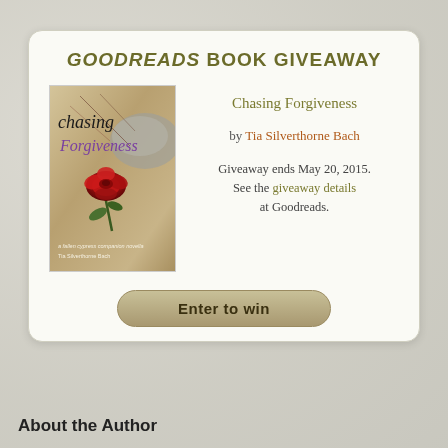GOODREADS BOOK GIVEAWAY
[Figure (illustration): Book cover of 'Chasing Forgiveness' by Tia Silverthorne Bach, showing a red rose on sandy ground with cursive and hand-drawn title lettering]
Chasing Forgiveness
by Tia Silverthorne Bach
Giveaway ends May 20, 2015. See the giveaway details at Goodreads.
Enter to win
About the Author